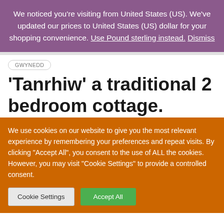We noticed you're visiting from United States (US). We've updated our prices to United States (US) dollar for your shopping convenience. Use Pound sterling instead. Dismiss
GWYNEDD
'Tanrhiw' a traditional 2 bedroom cottage.
We use cookies on our website to give you the most relevant experience by remembering your preferences and repeat visits. By clicking "Accept All", you consent to the use of ALL the cookies. However, you may visit "Cookie Settings" to provide a controlled consent.